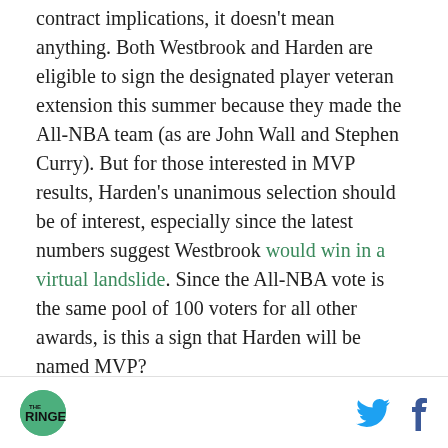contract implications, it doesn't mean anything. Both Westbrook and Harden are eligible to sign the designated player veteran extension this summer because they made the All-NBA team (as are John Wall and Stephen Curry). But for those interested in MVP results, Harden's unanimous selection should be of interest, especially since the latest numbers suggest Westbrook would win in a virtual landslide. Since the All-NBA vote is the same pool of 100 voters for all other awards, is this a sign that Harden will be named MVP?
On the Outside Looking In
THE RINGER [logo] [Twitter icon] [Facebook icon]